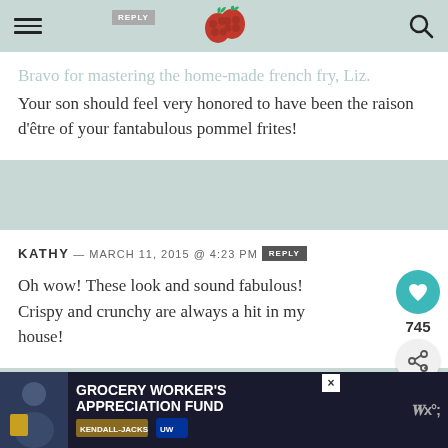[hamburger menu] [raspberry logo] [search icon]
Bravo for mastering the home-made french fry, Liz. Your son should feel very honored to have been the raison d'être of your fantabulous pommel frites!
KATHY — MARCH 11, 2015 @ 4:23 PM [REPLY] Oh wow! These look and sound fabulous! Crispy and crunchy are always a hit in my house!
KRISTI @ MYSFKITCHEN — MARCH 11, 2015 @ 3:29 PM [REPLY]
[Figure (infographic): What's Next panel with circular food image thumbnail and text: WHAT'S NEXT → Whole-Cherry Clafoutis]
[Figure (infographic): Advertisement banner: GROCERY WORKER'S APPRECIATION FUND with Kendall-Jackson and United Way logos, close button, and Wm° logo]